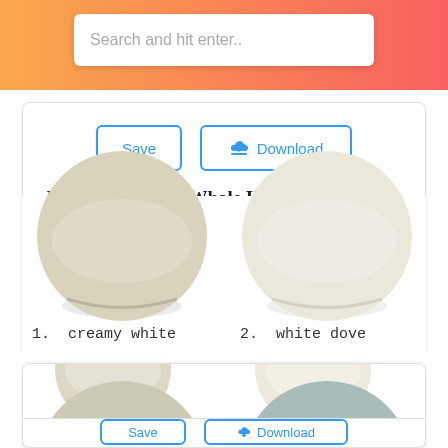[Figure (screenshot): Search bar with placeholder text 'Search and hit enter..' on a gradient orange-to-red background header]
Benjamin Moore Whole Home Paint Colors Revere Pewter Nantucket
[Figure (illustration): Four paint color swatches: 1. creamy white, 2. white dove, 3. (greige/taupe), 4. (pale blue-green)]
1. creamy white
2. white dove